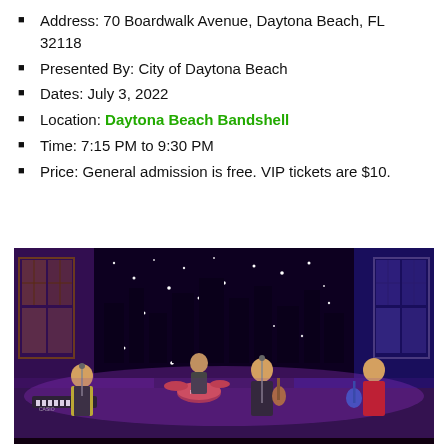Address: 70 Boardwalk Avenue, Daytona Beach, FL 32118
Presented By: City of Daytona Beach
Dates: July 3, 2022
Location: Daytona Beach Bandshell
Time: 7:15 PM to 9:30 PM
Price: General admission is free. VIP tickets are $10.
[Figure (photo): Band performing on stage with purple lighting, starry backdrop, city skyline scenery. Four musicians visible: keyboard player in yellow jacket on left, drummer center-back, guitarist in suit center-front, guitarist in red shirt on right.]